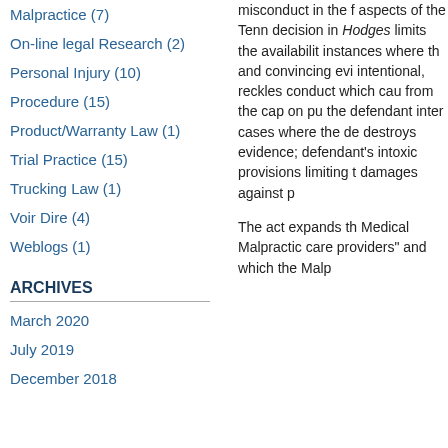Malpractice (7)
On-line legal Research (2)
Personal Injury (10)
Procedure (15)
Product/Warranty Law (1)
Trial Practice (15)
Trucking Law (1)
Voir Dire (4)
Weblogs (1)
ARCHIVES
March 2020
July 2019
December 2018
misconduct in the f aspects of the Tenn decision in Hodges limits the availabilit instances where th and convincing evi intentional, reckles conduct which cau from the cap on pu the defendant inter cases where the de destroys evidence; defendant's intoxic provisions limiting t damages against p
The act expands th Medical Malpractic care providers" and which the Malp